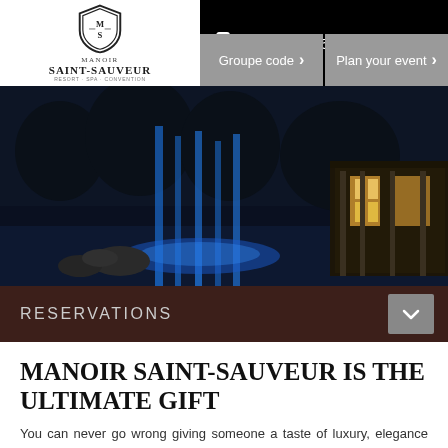[Figure (logo): Manoir Saint-Sauveur shield logo with MS monogram and hotel name]
1-800-361-0505
Groupe code
Plan your event
[Figure (photo): Nighttime outdoor photo of illuminated water features with blue lighting and a lit building in background]
RESERVATIONS
MANOIR SAINT-SAUVEUR IS THE ULTIMATE GIFT
You can never go wrong giving someone a taste of luxury, elegance and refinement! With Manoir Saint-Sauveur gift card, your loved ones can enjoy a fabulous meal at La Tablée restaurant, an all-inclusive gastronomic weekend, or other memorable experiences in a magical setting.